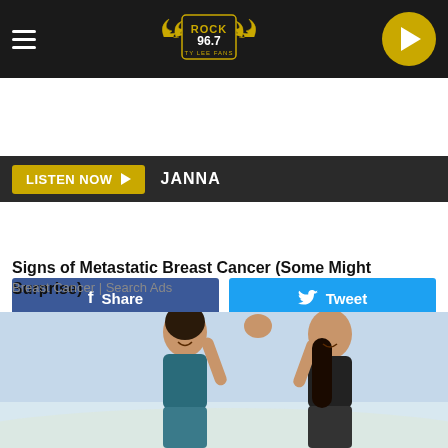[Figure (screenshot): Rock 96.7 radio station website header with logo, hamburger menu, and play button]
LISTEN NOW ▶  JANNA
[Figure (screenshot): Facebook Share and Twitter Tweet social sharing buttons]
[Figure (photo): Partial image strip showing pink clothing/fabric]
Signs of Metastatic Breast Cancer (Some Might Surprise)
Breast Cancer | Search Ads
[Figure (photo): Two women giving each other a high five outdoors, both in athletic wear]